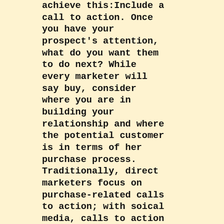achieve this:Include a call to action. Once you have your prospect's attention, what do you want them to do next? While every marketer will say buy, consider where you are in building your relationship and where the potential customer is in terms of her purchase process. Traditionally, direct marketers focus on purchase-related calls to action; with soical media, calls to action can comprise a broader array of options such as likes, soical